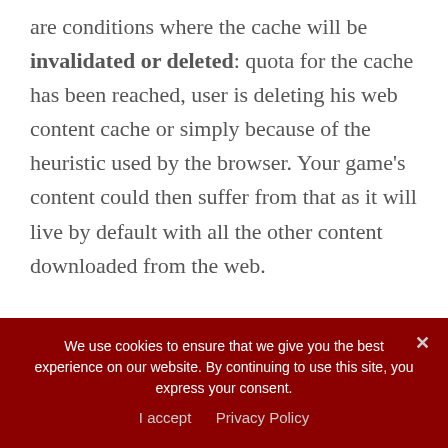are conditions where the cache will be invalidated or deleted: quota for the cache has been reached, user is deleting his web content cache or simply because of the heuristic used by the browser. Your game's content could then suffer from that as it will live by default with all the other content downloaded from the web.
I wanted something better for a gaming experience. As a gamer, I'm ok to download the assets during the first launch of the game...
We use cookies to ensure that we give you the best experience on our website. By continuing to use this site, you express your consent.
I accept  Privacy Policy